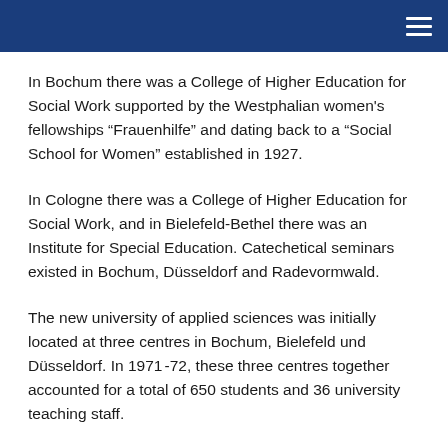In Bochum there was a College of Higher Education for Social Work supported by the Westphalian women's fellowships “Frauenhilfe” and dating back to a “Social School for Women” established in 1927.
In Cologne there was a College of Higher Education for Social Work, and in Bielefeld-Bethel there was an Institute for Special Education. Catechetical seminars existed in Bochum, Düsseldorf and Radevormwald.
The new university of applied sciences was initially located at three centres in Bochum, Bielefeld und Düsseldorf. In 1971 -72, these three centres together accounted for a total of 650 students and 36 university teaching staff.
In 1986, the departments in Düsseldorf and Kaiserswerth